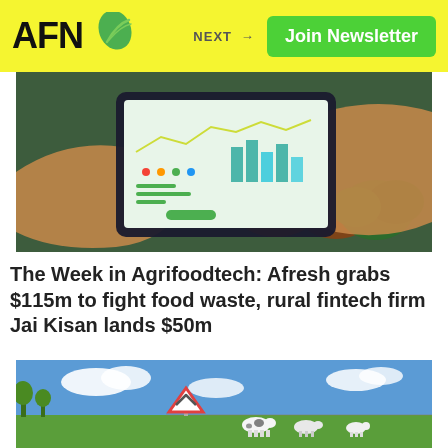AFN | NEXT → | Join Newsletter
[Figure (photo): Hands holding a tablet displaying agricultural analytics dashboard with charts and graphs, with fresh vegetables in the background]
The Week in Agrifoodtech: Afresh grabs $115m to fight food waste, rural fintech firm Jai Kisan lands $50m
[Figure (photo): Rural countryside scene with cows grazing in a green field under a blue sky with clouds, and a road warning sign in the foreground]